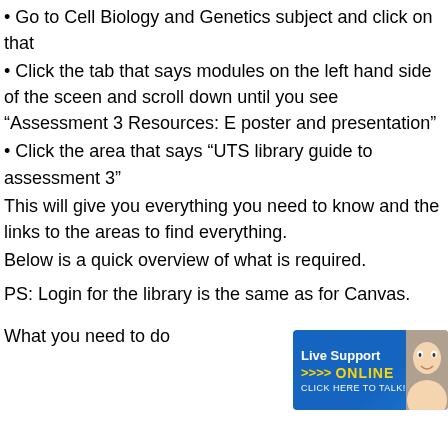• Go to Cell Biology and Genetics subject and click on that
• Click the tab that says modules on the left hand side of the sceen and scroll down until you see “Assessment 3 Resources: E poster and presentation”
• Click the area that says “UTS library guide to assessment 3”
This will give you everything you need to know and the links to the areas to find everything.
Below is a quick overview of what is required.
[Figure (screenshot): Live Support ONLINE chat widget with arrows and CLICK HERE TO TALK text]
PS: Login for the library is the same as for Canvas.
What you need to do